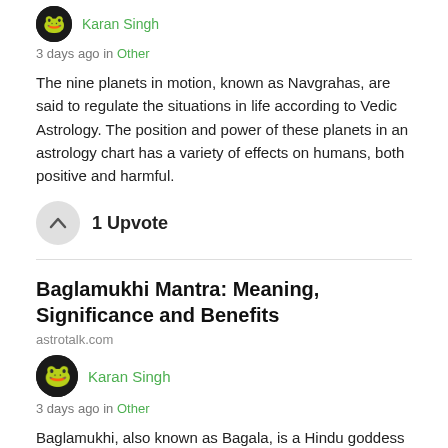[Figure (illustration): Small circular avatar with dark background and green frog/character icon, partially cut off at top]
Karan Singh
3 days ago in Other
The nine planets in motion, known as Navgrahas, are said to regulate the situations in life according to Vedic Astrology. The position and power of these planets in an astrology chart has a variety of effects on humans, both positive and harmful.
[Figure (illustration): Upvote button — circular grey button with upward chevron arrow]
1 Upvote
Baglamukhi Mantra: Meaning, Significance and Benefits
astrotalk.com
[Figure (illustration): Circular avatar with dark background and green frog/character icon]
Karan Singh
3 days ago in Other
Baglamukhi, also known as Bagala, is a Hindu goddess who is revered as one of the ten Mahavidyas. Worshipping Baglamukhi